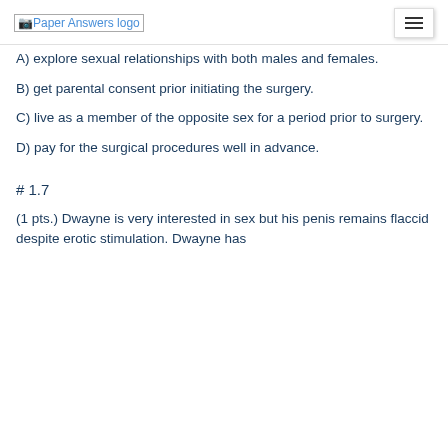Paper Answers logo
A) explore sexual relationships with both males and females.
B) get parental consent prior initiating the surgery.
C) live as a member of the opposite sex for a period prior to surgery.
D) pay for the surgical procedures well in advance.
# 1.7
(1 pts.) Dwayne is very interested in sex but his penis remains flaccid despite erotic stimulation. Dwayne has